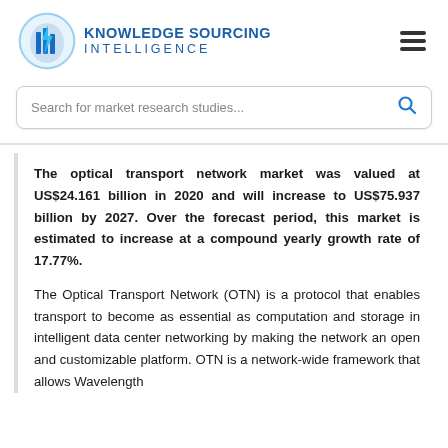[Figure (logo): Knowledge Sourcing Intelligence logo with blue shield/building icon and text]
Search for market research studies...
The optical transport network market was valued at US$24.161 billion in 2020 and will increase to US$75.937 billion by 2027. Over the forecast period, this market is estimated to increase at a compound yearly growth rate of 17.77%.
The Optical Transport Network (OTN) is a protocol that enables transport to become as essential as computation and storage in intelligent data center networking by making the network an open and customizable platform. OTN is a network-wide framework that allows Wavelength